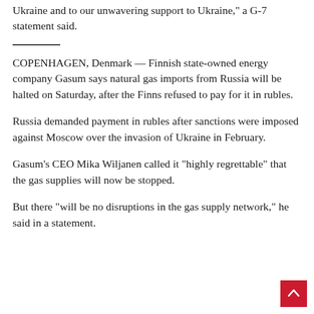Ukraine and to our unwavering support to Ukraine," a G-7 statement said.
COPENHAGEN, Denmark — Finnish state-owned energy company Gasum says natural gas imports from Russia will be halted on Saturday, after the Finns refused to pay for it in rubles.
Russia demanded payment in rubles after sanctions were imposed against Moscow over the invasion of Ukraine in February.
Gasum's CEO Mika Wiljanen called it "highly regrettable" that the gas supplies will now be stopped.
But there "will be no disruptions in the gas supply network," he said in a statement.